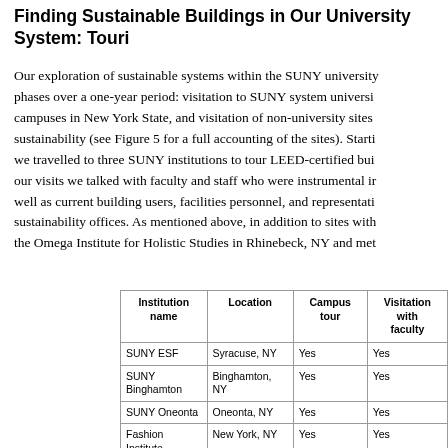Finding Sustainable Buildings in Our University System: Touri...
Our exploration of sustainable systems within the SUNY university phases over a one-year period: visitation to SUNY system universi campuses in New York State, and visitation of non-university sites sustainability (see Figure 5 for a full accounting of the sites). Starti we travelled to three SUNY institutions to tour LEED-certified bui our visits we talked with faculty and staff who were instrumental ir well as current building users, facilities personnel, and representati sustainability offices. As mentioned above, in addition to sites with the Omega Institute for Holistic Studies in Rhinebeck, NY and met
| Institution name | Location | Campus tour | Visitation with faculty |
| --- | --- | --- | --- |
| SUNY ESF | Syracuse, NY | Yes | Yes |
| SUNY Binghamton | Binghamton, NY | Yes | Yes |
| SUNY Oneonta | Oneonta, NY | Yes | Yes |
| Fashion Institute of Technology | New York, NY | Yes | Yes |
| New York | New York, NY | Yes | Yes |